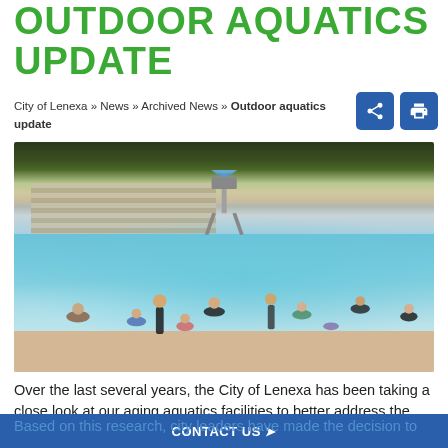OUTDOOR AQUATICS UPDATE
City of Lenexa » News » Archived News » Outdoor aquatics update
[Figure (photo): People swimming in an outdoor public pool on a sunny day, with bleachers and a lifeguard stand visible in the background.]
Over the last several years, the City of Lenexa has been taking a close look at our aging aquatics facilities to better address the needs of our growing and changing community.
Based on this research, city leaders have made the decision to